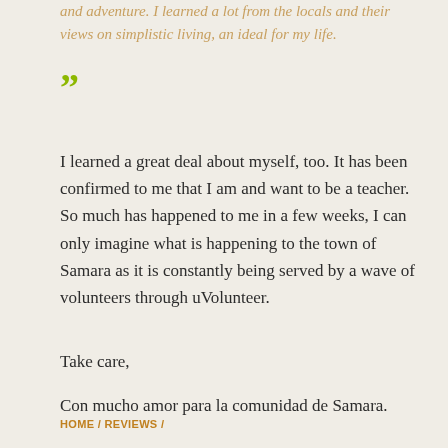and adventure. I learned a lot from the locals and their views on simplistic living, an ideal for my life.
”
I learned a great deal about myself, too. It has been confirmed to me that I am and want to be a teacher. So much has happened to me in a few weeks, I can only imagine what is happening to the town of Samara as it is constantly being served by a wave of volunteers through uVolunteer.
Take care,
Con mucho amor para la comunidad de Samara.
HOME / REVIEWS /